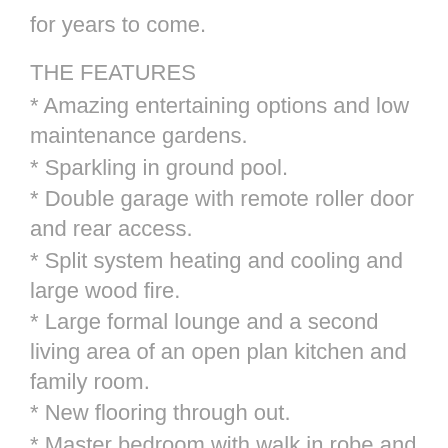for years to come.
THE FEATURES
* Amazing entertaining options and low maintenance gardens.
* Sparkling in ground pool.
* Double garage with remote roller door and rear access.
* Split system heating and cooling and large wood fire.
* Large formal lounge and a second living area of an open plan kitchen and family room.
* New flooring through out.
* Master bedroom with walk in robe and ensuite.
* Bedrooms two and three are queen size rooms with BIRs
* No rear neighbours.
Don't hesitate to book an inspection with James at your earliest convenience.